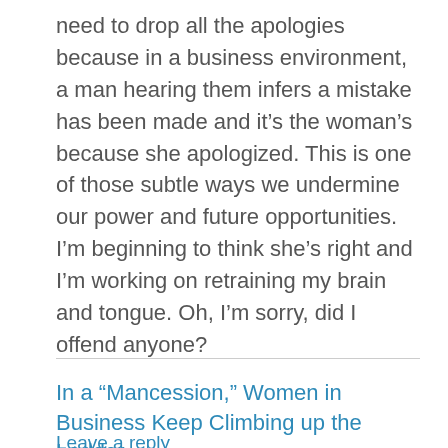need to drop all the apologies because in a business environment, a man hearing them infers a mistake has been made and it’s the woman’s because she apologized. This is one of those subtle ways we undermine our power and future opportunities.  I’m beginning to think she’s right and I’m working on retraining my brain and tongue. Oh, I’m sorry, did I offend anyone?
In a “Mancession,” Women in Business Keep Climbing up the Ladder
Leave a reply